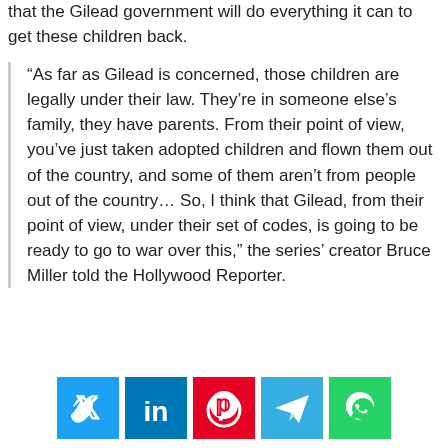that the Gilead government will do everything it can to get these children back.
“As far as Gilead is concerned, those children are legally under their law. They’re in someone else’s family, they have parents. From their point of view, you’ve just taken adopted children and flown them out of the country, and some of them aren’t from people out of the country… So, I think that Gilead, from their point of view, under their set of codes, is going to be ready to go to war over this,” the series’ creator Bruce Miller told the Hollywood Reporter.
[Figure (infographic): Social media share buttons: Twitter (blue), LinkedIn (dark blue), Pinterest (red), Telegram (blue), WhatsApp (green)]